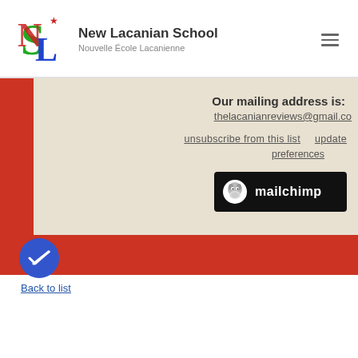[Figure (logo): New Lacanian School / Nouvelle École Lacanienne logo with colorful NSL letters]
New Lacanian School
Nouvelle École Lacanienne
Our mailing address is:
thelacanianreviews@gmail.co
unsubscribe from this list
update preferences
[Figure (logo): Mailchimp logo — black rectangle with chimp head icon and 'mailchimp' text in white]
Back to list